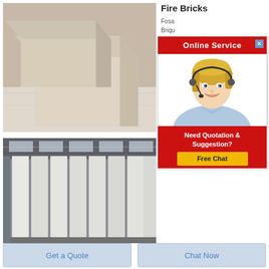[Figure (photo): Photo of white/cream colored fire bricks stacked in a room with wooden floor]
Fire Bricks
Fosa... Briqu...
[Figure (infographic): Online Service popup with customer service agent woman wearing headset, red header 'Online Service', close button, 'Need Quotation & Suggestion?' text and yellow 'Free Chat' button]
[Figure (photo): Photo of tall white fire brick panels/boards stored in an industrial warehouse]
Get a Quote
Chat Now